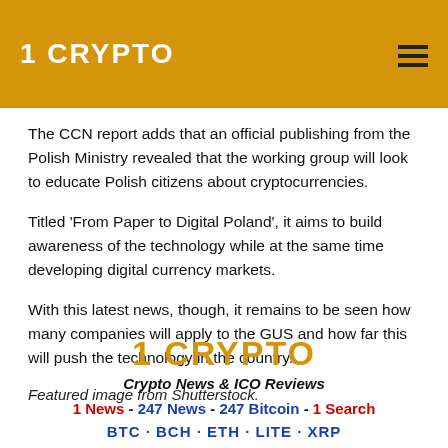1 CRYPTO
The CCN report adds that an official publishing from the Polish Ministry revealed that the working group will look to educate Polish citizens about cryptocurrencies.
Titled 'From Paper to Digital Poland', it aims to build awareness of the technology while at the same time developing digital currency markets.
With this latest news, though, it remains to be seen how many companies will apply to the GUS and how far this will push the technology in the country.
Featured image from Shutterstock.
1 CRYPTO
Crypto News & ICO Reviews
1 News - 247 News - 247 Bitcoin - 1 Search
BTC · BCH · ETH · LITE · XRP